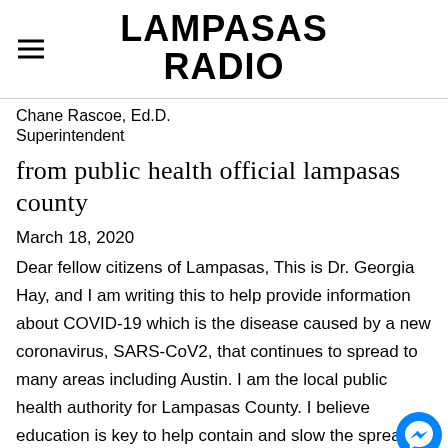LAMPASAS RADIO
Chane Rascoe, Ed.D.
Superintendent
from public health official lampasas county
March 18, 2020
Dear fellow citizens of Lampasas, This is Dr. Georgia Hay, and I am writing this to help provide information about COVID-19 which is the disease caused by a new coronavirus, SARS-CoV2, that continues to spread to many areas including Austin. I am the local public health authority for Lampasas County. I believe education is key to help contain and slow the spread